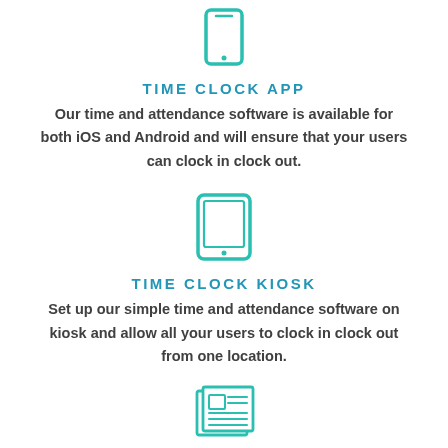[Figure (illustration): Teal/green smartphone icon at the top of the page]
TIME CLOCK APP
Our time and attendance software is available for both iOS and Android and will ensure that your users can clock in clock out.
[Figure (illustration): Teal/green tablet/iPad icon in the middle of the page]
TIME CLOCK KIOSK
Set up our simple time and attendance software on kiosk and allow all your users to clock in clock out from one location.
[Figure (illustration): Teal/green newspaper/report icon at the bottom of the page, partially visible]